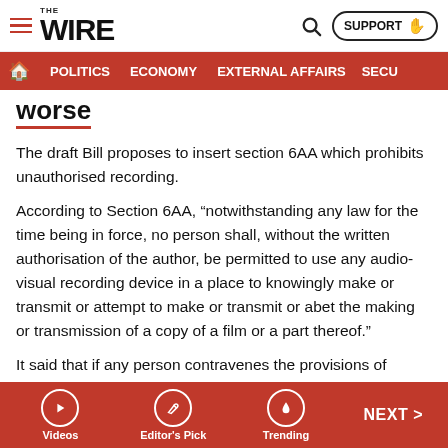THE WIRE — SUPPORT | POLITICS | ECONOMY | EXTERNAL AFFAIRS | SECU...
worse
The draft Bill proposes to insert section 6AA which prohibits unauthorised recording.
According to Section 6AA, “notwithstanding any law for the time being in force, no person shall, without the written authorisation of the author, be permitted to use any audio-visual recording device in a place to knowingly make or transmit or attempt to make or transmit or abet the making or transmission of a copy of a film or a part thereof.”
It said that if any person contravenes the provisions of section 6AA, he shall be punishable with imprisonment for a term which shall not be less than three months but which
Videos | Editor's Pick | Trending | NEXT >